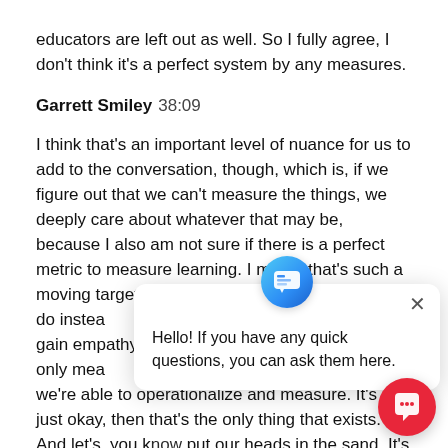educators are left out as well. So I fully agree, I don't think it's a perfect system by any measures.
Garrett Smiley  38:09
I think that's an important level of nuance for us to add to the conversation, though, which is, if we figure out that we can't measure the things, we deeply care about whatever that may be, because I also am not sure if there is a perfect metric to measure learning. I mean, that's such a moving target. So okay, what are we going to do instead. It's what you're saying, gain empathy for their okay, we can only mea facts. That's the only thing we're able to operationalize and measure. It's not just okay, then that's the only thing that exists. And let's, you know put our heads in the sand. It's no let's do our best try to get empathy and perspective on the other
Hello! If you have any quick questions, you can ask them here.